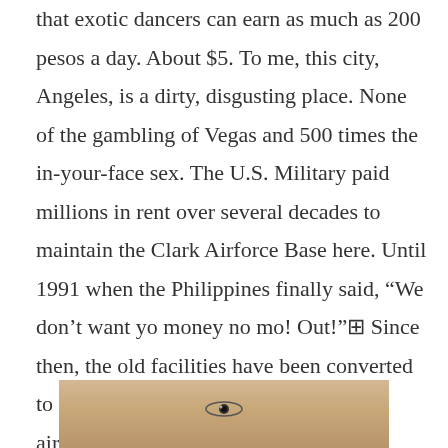that exotic dancers can earn as much as 200 pesos a day. About $5. To me, this city, Angeles, is a dirty, disgusting place. None of the gambling of Vegas and 500 times the in-your-face sex. The U.S. Military paid millions in rent over several decades to maintain the Clark Airforce Base here. Until 1991 when the Philippines finally said, “We don’t want yo money no mo! Out!” Since then, the old facilities have been converted to civilian commercial use and budget airlines have flocked to the runways.
[Figure (photo): Partial image visible at bottom of page showing what appears to be a wooden surface or face, cropped at bottom edge]